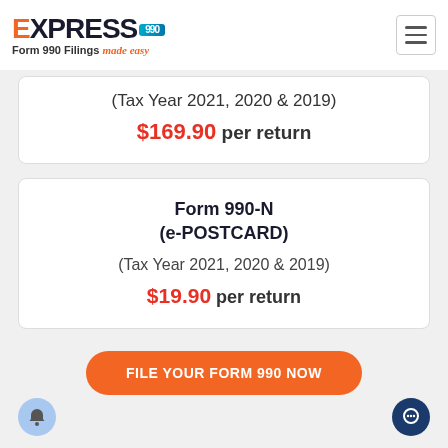Express 990 - Form 990 Filings made easy
(Tax Year 2021, 2020 & 2019)
$169.90 per return
Form 990-N (e-POSTCARD)
(Tax Year 2021, 2020 & 2019)
$19.90 per return
FILE YOUR FORM 990 NOW